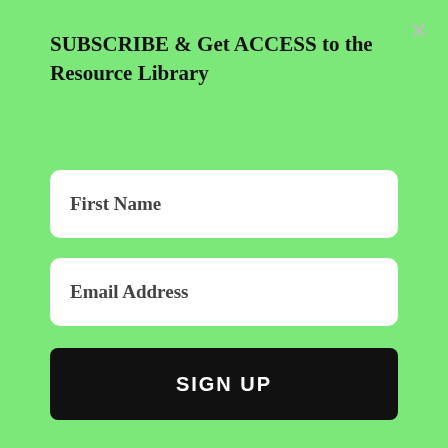SUBSCRIBE & Get ACCESS to the Resource Library
First Name
Email Address
SIGN UP
[Figure (photo): Movie poster image for Black Panther showing characters in African-inspired attire]
WHAT CAN WE TAKEAWAY FROM THE MOVIE BLACK PANTHER?
[Figure (photo): Cross silhouette against a pink/orange sunset sky with grass and plants]
HIS DEATH, OUR HOPE